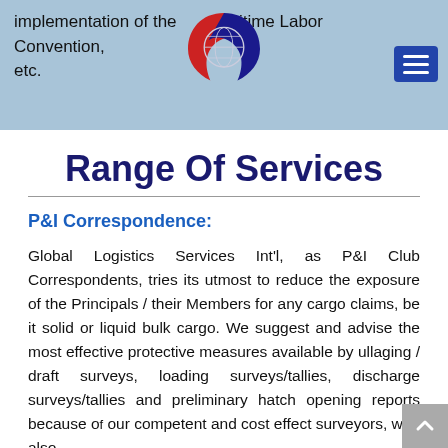implementation of the Maritime Labor Convention, etc.
[Figure (logo): Global Logistics Services International logo — red and blue circular emblem with globe/anchor motif]
Range Of Services
P&I Correspondence:
Global Logistics Services Int'l, as P&I Club Correspondents, tries its utmost to reduce the exposure of the Principals / their Members for any cargo claims, be it solid or liquid bulk cargo. We suggest and advise the most effective protective measures available by ullaging / draft surveys, loading surveys/tallies, discharge surveys/tallies and preliminary hatch opening reports because of our competent and cost effect surveyors, who also